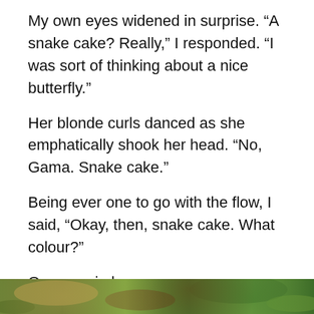My own eyes widened in surprise. “A snake cake? Really,” I responded. “I was sort of thinking about a nice butterfly.”
Her blonde curls danced as she emphatically shook her head. “No, Gama. Snake cake.”
Being ever one to go with the flow, I said, “Okay, then, snake cake. What colour?”
Once again her response was immediate, as if this idea had been fully formed for some time. “Geen, Gama. I have a geen snake cake.”
Britney’s inability to say the letter ‘R’ often results in some darn cute sentences. Like the time she said, “Gampa Buce like geen, so I like geen, too.” Or when she asked me for geen gapes, Gama.
[Figure (photo): Outdoor photo strip showing green foliage and natural scenery at the bottom of the page]